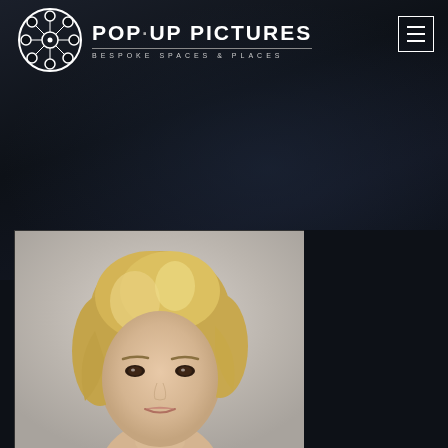[Figure (logo): Pop-Up Pictures logo: film reel icon on the left, text 'POP·UP PICTURES' in large bold letters, subtitle 'BESPOKE SPACES & PLACES' below]
[Figure (other): Hamburger/menu icon button (three horizontal lines) in a white-bordered square box, top-right corner]
[Figure (photo): Portrait photo of a blonde woman, cropped showing face and top of head, against a neutral gray-beige background. Photo occupies lower-left portion of the page.]